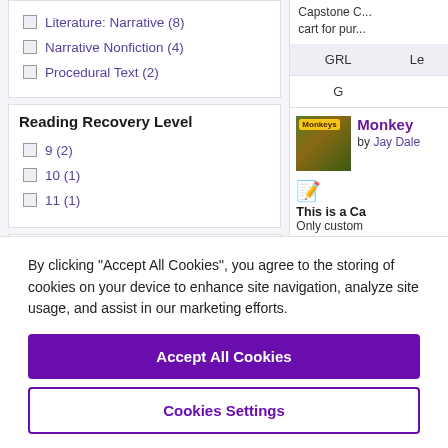Literature: Narrative (8)
Narrative Nonfiction (4)
Procedural Text (2)
Reading Recovery Level
9 (2)
10 (1)
11 (1)
Early Intervention Level
Capstone C... cart for pur...
| GRL | Le |
| --- | --- |
| G |  |
[Figure (photo): Book cover thumbnail for Monkeys]
Monkeys
by Jay Dale
This is a Ca... Only custom...
By clicking “Accept All Cookies”, you agree to the storing of cookies on your device to enhance site navigation, analyze site usage, and assist in our marketing efforts.
Accept All Cookies
Cookies Settings